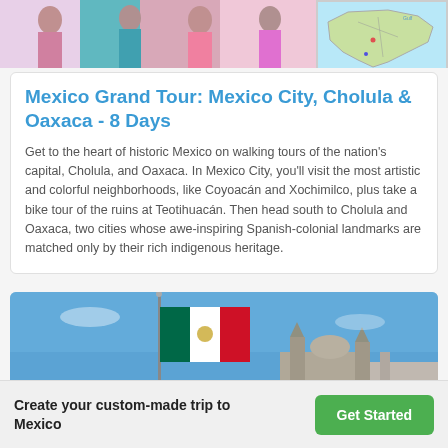[Figure (photo): Top banner showing colorful traditional Mexican costumes on the left and a small map of Mexico on the right]
Mexico Grand Tour: Mexico City, Cholula & Oaxaca - 8 Days
Get to the heart of historic Mexico on walking tours of the nation's capital, Cholula, and Oaxaca. In Mexico City, you'll visit the most artistic and colorful neighborhoods, like Coyoacán and Xochimilco, plus take a bike tour of the ruins at Teotihuacán. Then head south to Cholula and Oaxaca, two cities whose awe-inspiring Spanish-colonial landmarks are matched only by their rich indigenous heritage.
[Figure (photo): Photo of Mexican flag flying on a tall pole against a blue sky with cathedral spires in the background]
Create your custom-made trip to Mexico